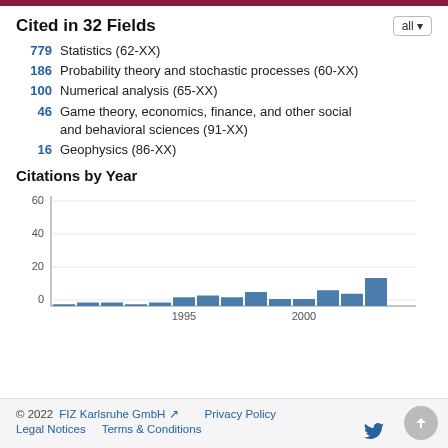Cited in 32 Fields
779  Statistics (62-XX)
186  Probability theory and stochastic processes (60-XX)
100  Numerical analysis (65-XX)
46  Game theory, economics, finance, and other social and behavioral sciences (91-XX)
16  Geophysics (86-XX)
Citations by Year
[Figure (bar-chart): Citations by Year]
© 2022   FIZ Karlsruhe GmbH   Privacy Policy   Legal Notices   Terms & Conditions